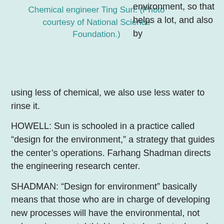Chemical engineer Ting Sun. (Photo courtesy of National Science Foundation.)
environment, so that helps a lot, and also by using less of chemical, we also use less water to rinse it.
HOWELL: Sun is schooled in a practice called “design for the environment,” a strategy that guides the center’s operations. Farhang Shadman directs the engineering research center.
SHADMAN: “Design for environment” basically means that those who are in charge of developing new processes will have the environmental, not only environmental thinking but also the tools and techniques of environmental assessment in their way of doing research.
HOWELL: The center’s full name is SRC/Sematech